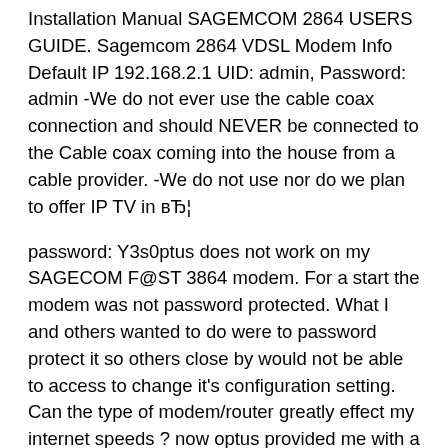Installation Manual SAGEMCOM 2864 USERS GUIDE. Sagemcom 2864 VDSL Modem Info Default IP 192.168.2.1 UID: admin, Password: admin -We do not ever use the cable coax connection and should NEVER be connected to the Cable coax coming into the house from a cable provider. -We do not use nor do we plan to offer IP TV in вЂ¦
password: Y3s0ptus does not work on my SAGECOM F@ST 3864 modem. For a start the modem was not password protected. What I and others wanted to do were to password protect it so others close by would not be able to access to change it's configuration setting. Can the type of modem/router greatly effect my internet speeds ? now optus provided me with a sagemcom f@st 3864 with the plan and i am starting to think it my be at least some of my causes of slow internet as from day one it has had another problem of dropping the connecting and needing to be restarted more